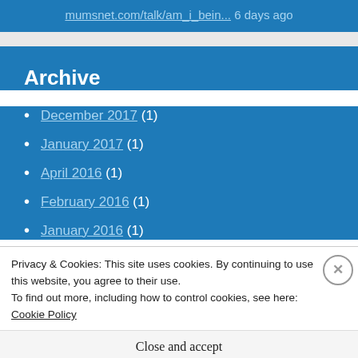mumsnet.com/talk/am_i_bein... 6 days ago
Archive
December 2017 (1)
January 2017 (1)
April 2016 (1)
February 2016 (1)
January 2016 (1)
Privacy & Cookies: This site uses cookies. By continuing to use this website, you agree to their use.
To find out more, including how to control cookies, see here: Cookie Policy
Close and accept